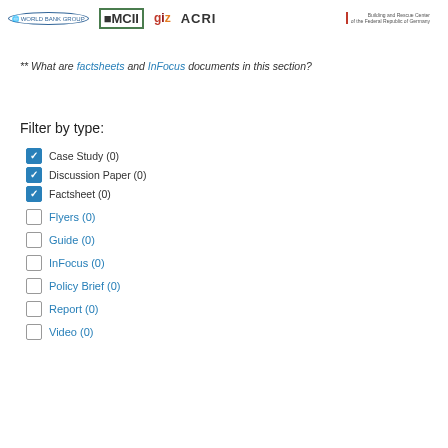Insurance Facility WORLD BANK GROUP | MCII | giz | ACRI | Building and Rescue Center of the Federal Republic of Germany
** What are factsheets and InFocus documents in this section?
Filter by type:
Case Study (0) [checked]
Discussion Paper (0) [checked]
Factsheet (0) [checked]
Flyers (0) [unchecked]
Guide (0) [unchecked]
InFocus (0) [unchecked]
Policy Brief (0) [unchecked]
Report (0) [unchecked]
Video (0) [unchecked]